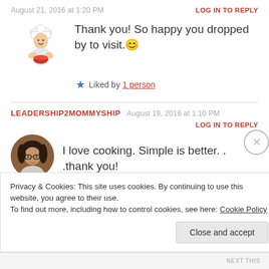August 21, 2016 at 1:20 PM
LOG IN TO REPLY
Thank you! So happy you dropped by to visit. 😊
★ Liked by 1 person
LEADERSHIP2MOMMYSHIP  August 19, 2016 at 1:10 PM
LOG IN TO REPLY
I love cooking. Simple is better. . .thank you!
Privacy & Cookies: This site uses cookies. By continuing to use this website, you agree to their use. To find out more, including how to control cookies, see here: Cookie Policy
Close and accept